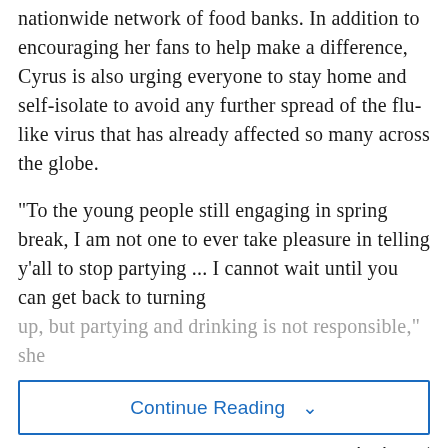nationwide network of food banks. In addition to encouraging her fans to help make a difference, Cyrus is also urging everyone to stay home and self-isolate to avoid any further spread of the flu-like virus that has already affected so many across the globe.
"To the young people still engaging in spring break, I am not one to ever take pleasure in telling y'all to stop partying ... I cannot wait until you can get back to turning up, but partying and drinking is not responsible," she
Continue Reading ∨
Taboola Feed
[Figure (photo): Three people walking together: a person in white shirt on the left, an elderly woman in black outfit with sunglasses in the middle smiling, and a person in dark suit with tie on the right.]